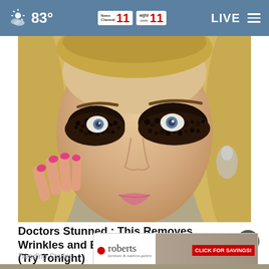83° News Channel 11 wjhl.com 11 LIVE
[Figure (photo): Woman with coffee grounds as eye treatment/beauty hack under and around both eyes, blond hair, pink nails touching face, wearing drop earrings]
Doctors Stunned : This Removes Wrinkles and Eye-bags Like Crazy (Try Tonight)
Trending Stories
[Figure (infographic): Roberts Furniture & Mattress Gallery advertisement banner with red dot logo, furniture image, and 'CLICK FOR SAVINGS!' call to action]